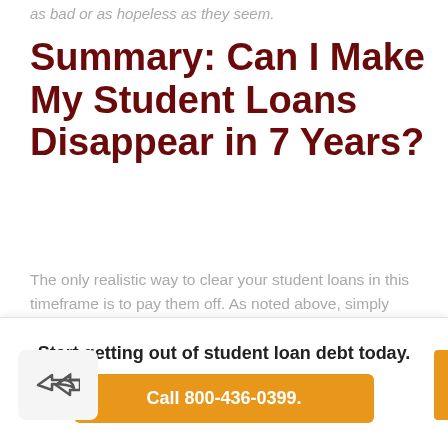as bad or as hopeless as they seem.
Summary: Can I Make My Student Loans Disappear in 7 Years?
The only realistic way to clear your student loans in this timeframe is to pay them off. As noted above, simply waiting for the statute of limitations to pass won't help, as it's not possible with federal loans and will lead to endless hassle with private loans.
If you'd like to explore your options and learn more of
Start getting out of student loan debt today.
Call 800-436-0399.